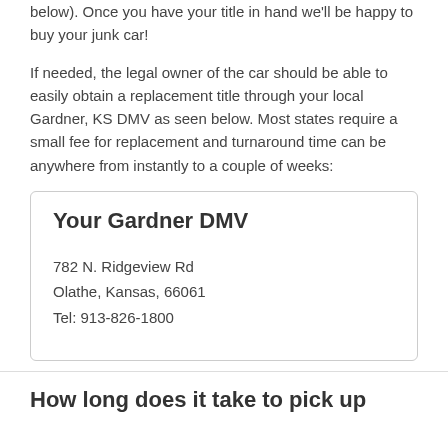below). Once you have your title in hand we'll be happy to buy your junk car!
If needed, the legal owner of the car should be able to easily obtain a replacement title through your local Gardner, KS DMV as seen below. Most states require a small fee for replacement and turnaround time can be anywhere from instantly to a couple of weeks:
Your Gardner DMV
782 N. Ridgeview Rd
Olathe, Kansas, 66061
Tel: 913-826-1800
How long does it take to pick up